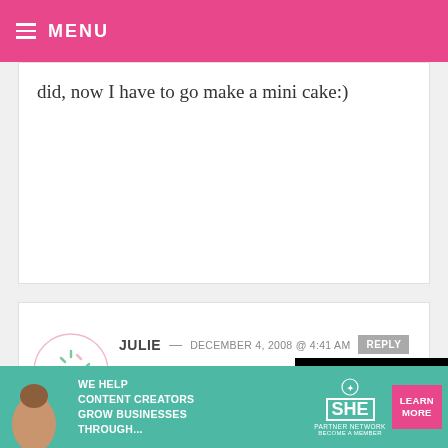MENU
did, now I have to go make a mini cake:)
JULIE — DECEMBER 4, 2008 @ 4:41 AM REPLY
I guess M... all 3 actu... perfect to... of those.
[Figure (screenshot): Video player overlay showing 'Loading ad' text with spinning loading indicator and playback controls (pause, fullscreen, mute) on black background]
[Figure (infographic): Advertisement banner: SHE Partner Network - We help content creators grow businesses through... Learn More button]